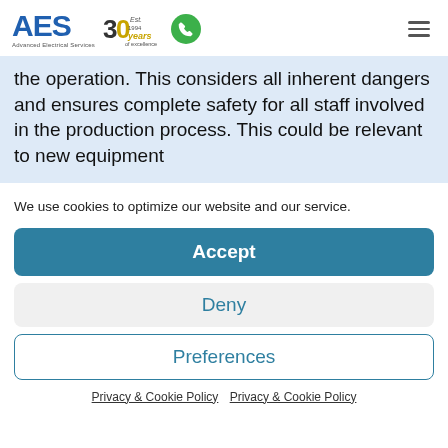AES Advanced Electrical Services — 30 years of excellence
the operation. This considers all inherent dangers and ensures complete safety for all staff involved in the production process. This could be relevant to new equipment
We use cookies to optimize our website and our service.
Accept
Deny
Preferences
Privacy & Cookie Policy   Privacy & Cookie Policy